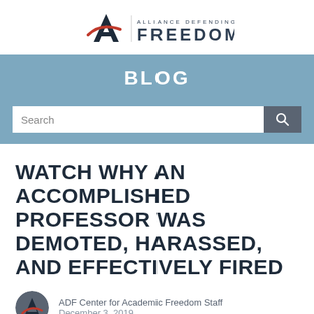[Figure (logo): Alliance Defending Freedom logo with stylized A and text]
BLOG
[Figure (screenshot): Search bar with search button]
WATCH WHY AN ACCOMPLISHED PROFESSOR WAS DEMOTED, HARASSED, AND EFFECTIVELY FIRED
ADF Center for Academic Freedom Staff
December 3, 2019